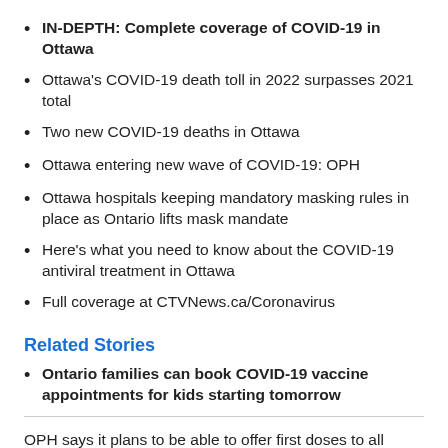IN-DEPTH: Complete coverage of COVID-19 in Ottawa
Ottawa's COVID-19 death toll in 2022 surpasses 2021 total
Two new COVID-19 deaths in Ottawa
Ottawa entering new wave of COVID-19: OPH
Ottawa hospitals keeping mandatory masking rules in place as Ontario lifts mask mandate
Here's what you need to know about the COVID-19 antiviral treatment in Ottawa
Full coverage at CTVNews.ca/Coronavirus
Related Stories
Ontario families can book COVID-19 vaccine appointments for kids starting tomorrow
OPH says it plans to be able to offer first doses to all 77,000 children five to 11 in the city within the next four